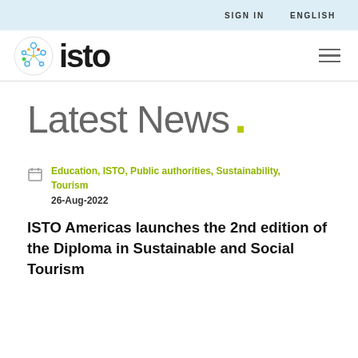SIGN IN   ENGLISH
[Figure (logo): ISTO logo with colorful network icon and bold 'isto' wordmark]
Latest News .
Education, ISTO, Public authorities, Sustainability, Tourism
26-Aug-2022
ISTO Americas launches the 2nd edition of the Diploma in Sustainable and Social Tourism